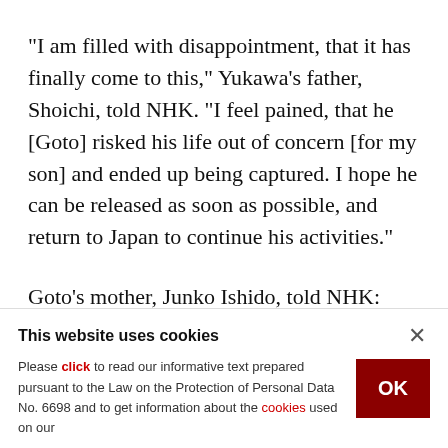"I am filled with disappointment, that it has finally come to this," Yukawa's father, Shoichi, told NHK. "I feel pained, that he [Goto] risked his life out of concern [for my son] and ended up being captured. I hope he can be released as soon as possible, and return to Japan to continue his activities."
Goto's mother, Junko Ishido, told NHK: "First of all I wish it weren't true, that it's some mistake. I'm
This website uses cookies
Please click to read our informative text prepared pursuant to the Law on the Protection of Personal Data No. 6698 and to get information about the cookies used on our